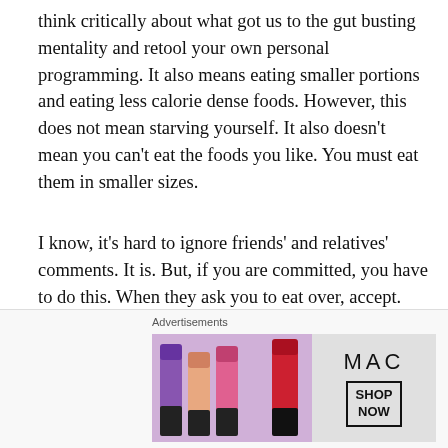think critically about what got us to the gut busting mentality and retool your own personal programming. It also means eating smaller portions and eating less calorie dense foods. However, this does not mean starving yourself. It also doesn't mean you can't eat the foods you like. You must eat them in smaller sizes.
I know, it's hard to ignore friends' and relatives' comments. It is. But, if you are committed, you have to do this. When they ask you to eat over, accept. But, don't eat more than what you need. Remember, you also do have 'cheat' meals.
Calorie density
[Figure (other): MAC cosmetics advertisement showing lipsticks in purple, peach, pink, and red colors alongside the MAC logo and a 'SHOP NOW' button]